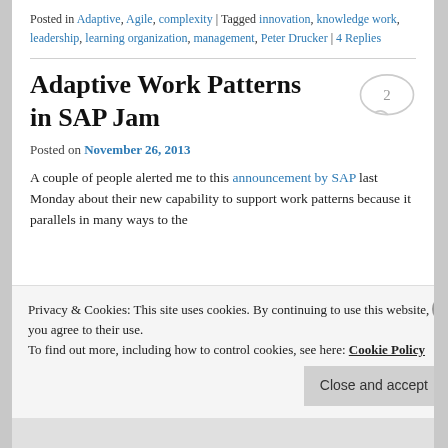Posted in Adaptive, Agile, complexity | Tagged innovation, knowledge work, leadership, learning organization, management, Peter Drucker | 4 Replies
Adaptive Work Patterns in SAP Jam
Posted on November 26, 2013
A couple of people alerted me to this announcement by SAP last Monday about their new capability to support work patterns because it parallels in many ways to the
Privacy & Cookies: This site uses cookies. By continuing to use this website, you agree to their use.
To find out more, including how to control cookies, see here: Cookie Policy